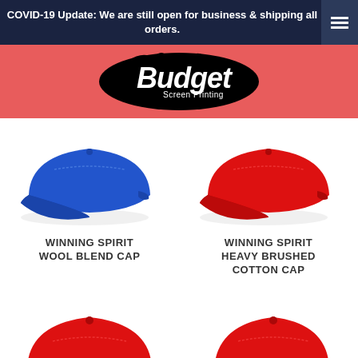COVID-19 Update: We are still open for business & shipping all orders.
[Figure (logo): Budget Screen Printing logo - white italic text on black ink splash shape, on red background]
[Figure (photo): Blue baseball cap - Winning Spirit Wool Blend Cap]
[Figure (photo): Red baseball cap - Winning Spirit Heavy Brushed Cotton Cap]
WINNING SPIRIT WOOL BLEND CAP
WINNING SPIRIT HEAVY BRUSHED COTTON CAP
[Figure (photo): Red baseball cap product photo - bottom left]
[Figure (photo): Red baseball cap product photo - bottom right]